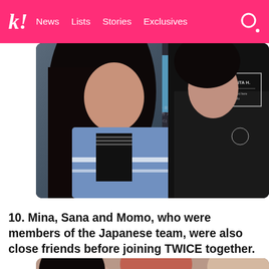k! News Lists Stories Exclusives
[Figure (photo): Two people, one with long dark hair wearing a light blue jacket, another wearing a black jacket with 'ATLANTA' branding, standing in front of a blue screen with Korean text]
10. Mina, Sana and Momo, who were members of the Japanese team, were also close friends before joining TWICE together.
[Figure (photo): Three people photographed from slightly above, showing their faces/tops of heads — one with dark hair, one with pink/auburn hair, one with light hair]